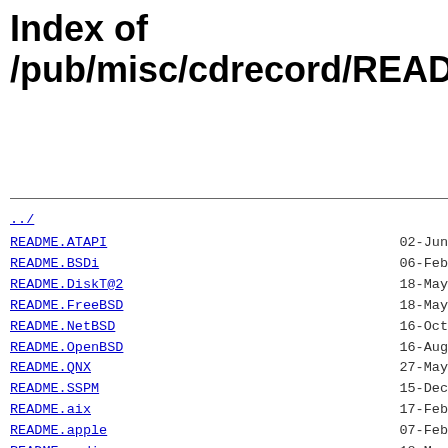Index of /pub/misc/cdrecord/READMEs/
../
README.ATAPI   02-Jun
README.BSDi    06-Feb
README.DiskT@2 18-May
README.FreeBSD 18-May
README.NetBSD  16-Oct
README.OpenBSD 16-Aug
README.QNX     27-May
README.SSPM    15-Dec
README.aix     17-Feb
README.apple   07-Feb
README.audio   18-May
README.cdplus  02-Jun
README.cdrw    27-May
README.cdtext  02-Jun
README.clone   22-Aug
README.compile 02-Jun
README.copy    08-Dec
README.eltorito 02-Jun
README.free_cddb 08-May
README.gmake   21-May
README.hp-7200 25-Nov